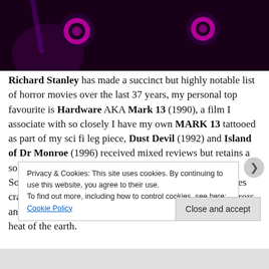[Figure (photo): Dark purple/black background with two glowing magenta/pink circular eye-like shapes]
Richard Stanley has made a succinct but highly notable list of horror movies over the last 37 years, my personal top favourite is Hardware AKA Mark 13 (1990), a film I associate with so closely I have my own MARK 13 tattooed as part of my sci fi leg piece, Dust Devil (1992) and Island of Dr Monroe (1996) received mixed reviews but retains a solid cult fan base for their unique approach to horror. Somewhere within all of his back catalogue there includes crazy hallucinogenic colour bursts, unknown hidden horrors and strong powerful characters who are usually lost in the heat of the earth.
Privacy & Cookies: This site uses cookies. By continuing to use this website, you agree to their use.
To find out more, including how to control cookies, see here: Cookie Policy
Close and accept